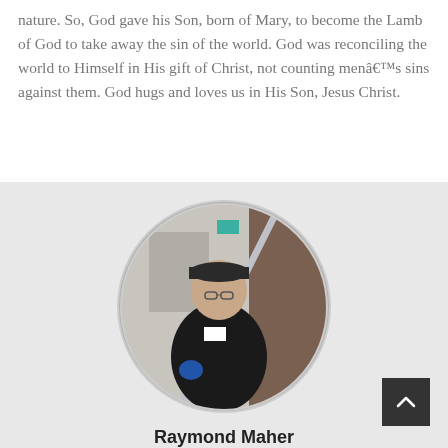nature. So, God gave his Son, born of Mary, to become the Lamb of God to take away the sin of the world. God was reconciling the world to Himself in His gift of Christ, not counting menâ€™s sins against them. God hugs and loves us in His Son, Jesus Christ.
[Figure (photo): Circular cropped photo of a man wearing a black jacket and cap, holding a long pole/mop, standing in an indoor setting with lockers visible in the background.]
Raymond Maher